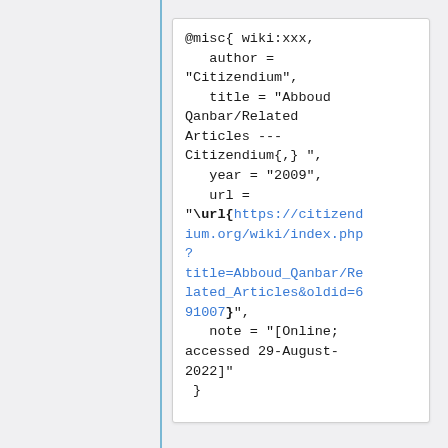@misc{ wiki:xxx,
   author =
"Citizendium",
   title = "Abboud Qanbar/Related Articles --- Citizendium{,} ",
   year = "2009",
   url =
"\url{https://citizendium.org/wiki/index.php?title=Abboud_Qanbar/Related_Articles&oldid=691007}",
   note = "[Online; accessed 29-August-2022]"
 }